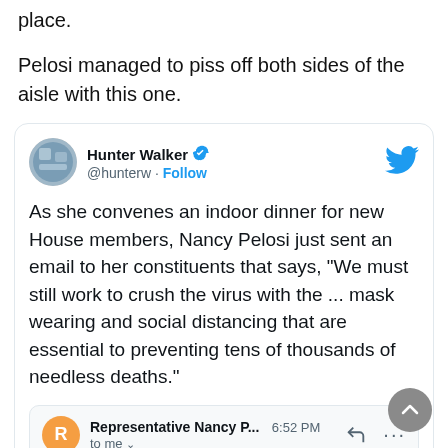place.
Pelosi managed to piss off both sides of the aisle with this one.
[Figure (screenshot): Screenshot of a tweet by Hunter Walker (@hunterw) with a Twitter verified badge and Follow button. Tweet text: 'As she convenes an indoor dinner for new House members, Nancy Pelosi just sent an email to her constituents that says, "We must still work to crush the virus with the ... mask wearing and social distancing that are essential to preventing tens of thousands of needless deaths."' Below the tweet is an embedded email preview from 'Representative Nancy P...' sent at 6:52 PM to the user, with a blue preview bar at the bottom.]